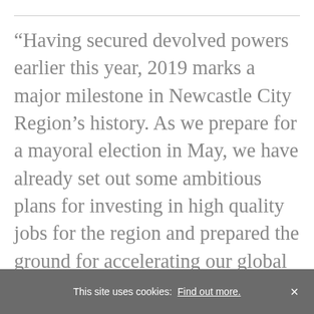“Having secured devolved powers earlier this year, 2019 marks a major milestone in Newcastle City Region’s history. As we prepare for a mayoral election in May, we have already set out some ambitious plans for investing in high quality jobs for the region and prepared the ground for accelerating our global reach and influence. As ever, MIPIM is an invaluable
This site uses cookies: Find out more. ×